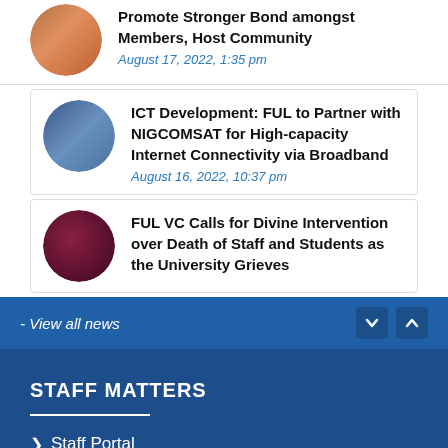Promote Stronger Bond amongst Members, Host Community
August 17, 2022, 1:35 pm
ICT Development: FUL to Partner with NIGCOMSAT for High-capacity Internet Connectivity via Broadband
August 16, 2022, 10:37 pm
FUL VC Calls for Divine Intervention over Death of Staff and Students as the University Grieves
- View all news
STAFF MATTERS
Staff Portal